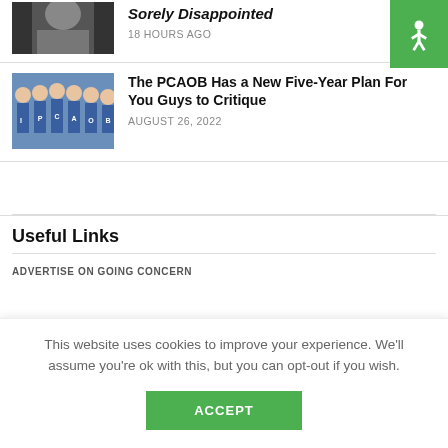[Figure (photo): Partial photo of a person at top left, cropped]
Sorely Disappointed
18 HOURS AGO
[Figure (logo): Green square with white accessibility/person icon]
[Figure (photo): Cheerleaders in blue uniforms with letters PCAOB]
The PCAOB Has a New Five-Year Plan For You Guys to Critique
AUGUST 26, 2022
Useful Links
ADVERTISE ON GOING CONCERN
This website uses cookies to improve your experience. We'll assume you're ok with this, but you can opt-out if you wish.
ACCEPT